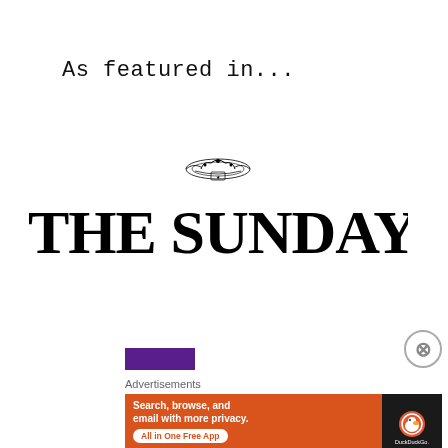As featured in...
[Figure (logo): The Sunday Times newspaper logo with decorative crest above the text 'THE SUNDAY TIMES' in large bold serif font]
[Figure (illustration): Purple/indigo rectangular bar element]
Advertisements
[Figure (screenshot): DuckDuckGo advertisement banner on orange background reading 'Search, browse, and email with more privacy. All in One Free App' with DuckDuckGo logo and phone graphic on right side]